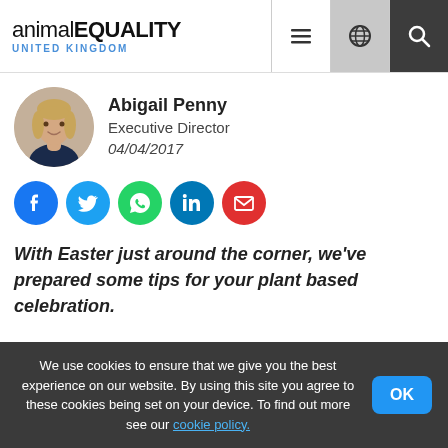animal EQUALITY UNITED KINGDOM
[Figure (photo): Circular portrait photo of Abigail Penny, a woman with blonde hair wearing a dark top]
Abigail Penny
Executive Director
04/04/2017
[Figure (infographic): Social sharing icons: Facebook (blue), Twitter (blue), WhatsApp (green), LinkedIn (blue), Email (red)]
With Easter just around the corner, we've prepared some tips for your plant based celebration.
We use cookies to ensure that we give you the best experience on our website. By using this site you agree to these cookies being set on your device. To find out more see our cookie policy.